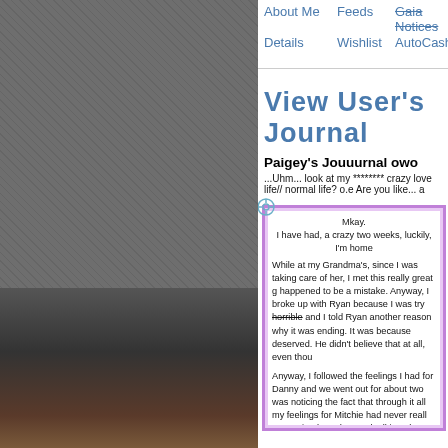About Me   Feeds   Gaia Notices
Details   Wishlist   AutoCash
View User's Journal
Paigey's Jouuurnal owo
...Uhm... look at my ******** crazy love life// normal life? o.e Are you like... a
Mkay...
I have had, a crazy two weeks, luckily, I'm home

While at my Grandma's, since I was taking care of her, I met this really great g happened to be a mistake. Anyway, I broke up with Ryan because I was try horrible and I told Ryan another reason why it was ending. It was because deserved. He didn't believe that at all, even thou

Anyway, I followed the feelings I had for Danny and we went out for about two was noticing the fact that through it all my feelings for Mitchie had never reall pretty simple and started talking about a friend he was interested in so in t

Anyway. That's the love life. Crazy, is it not? But I don't think I'd change how li because. So now I'm here and available from my home phone for my good fr email, just ask me for it in a

Alright
-
- P